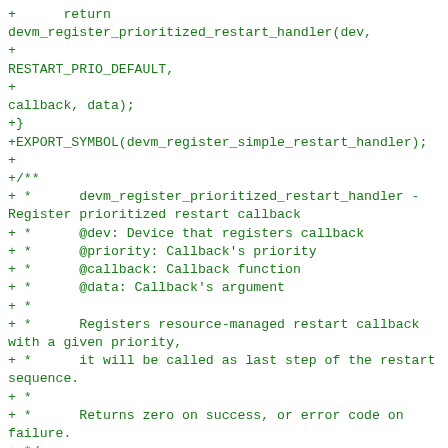+      return
devm_register_prioritized_restart_handler(dev,
+
RESTART_PRIO_DEFAULT,
+
callback, data);
+}
+EXPORT_SYMBOL(devm_register_simple_restart_handler);
+
+/**
+ *      devm_register_prioritized_restart_handler - Register prioritized restart callback
+ *      @dev: Device that registers callback
+ *      @priority: Callback's priority
+ *      @callback: Callback function
+ *      @data: Callback's argument
+ *
+ *      Registers resource-managed restart callback with a given priority,
+ *      it will be called as last step of the restart sequence.
+ *
+ *      Returns zero on success, or error code on failure.
+ */
+int devm_register_prioritized_restart_handler(struct device *dev,
+                                               int priority,
+                                               void